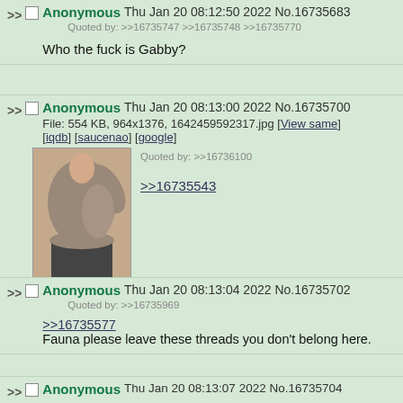Anonymous Thu Jan 20 08:12:50 2022 No.16735683 Quoted by: >>16735747 >>16735748 >>16735770 Who the fuck is Gabby?
Anonymous Thu Jan 20 08:13:00 2022 No.16735700 File: 554 KB, 964x1376, 1642459592317.jpg [View same] [iqdb] [saucenao] [google] Quoted by: >>16736100 >>16735543
[Figure (photo): Thumbnail of a person in a grey/tan t-shirt]
Anonymous Thu Jan 20 08:13:04 2022 No.16735702 Quoted by: >>16735969 >>16735577 Fauna please leave these threads you don't belong here.
Anonymous Thu Jan 20 08:13:07 2022 No.16735704 (partial)